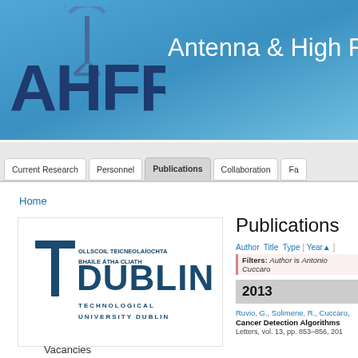[Figure (logo): AHFR Antenna & High Frequency Research logo with tower graphic on blue gradient banner]
Antenna & High Fre...
Current Research | Personnel | Publications | Collaboration | Fa...
Home
[Figure (logo): TU Dublin - Technological University Dublin logo with T and OLLSCOIL TEICNEOLAÍOCHTA BHAILE ÁTHA CLIATH text]
Publications
Author Title Type [ Year▲ ]
Filters: Author is Antonio Cuccaro...
2013
Ruvio, G., Solimene, R., Cuccaro,...
Cancer Detection Algorithms...
Letters, vol. 13, pp. 853–856, 201...
Vacancies